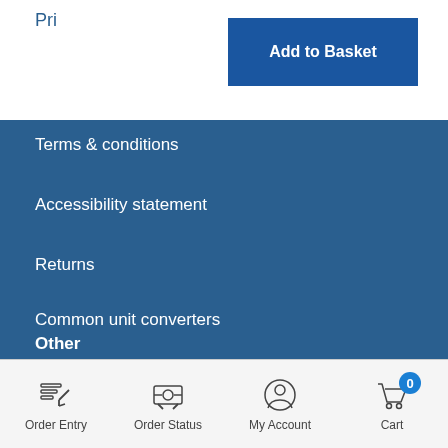Pri
Add to Basket
Terms & conditions
Accessibility statement
Returns
Common unit converters
Help
Other
Careers
Order Entry  Order Status  My Account  Cart